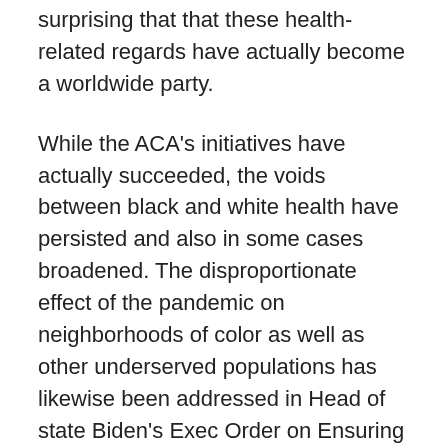surprising that that these health-related regards have actually become a worldwide party.
While the ACA's initiatives have actually succeeded, the voids between black and white health have persisted and also in some cases broadened. The disproportionate effect of the pandemic on neighborhoods of color as well as other underserved populations has likewise been addressed in Head of state Biden's Exec Order on Ensuring Equity in Pandemic Reaction and also Recuperation. The Exec Order guides the HHS to implement equity-focused programs, strengthen equity data collection, and perform an outreach project focused on increasing vaccination self-confidence amongst underserved populations.
According to the World Health Company, health is a